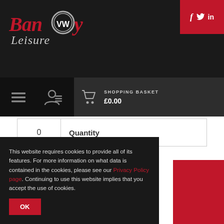[Figure (logo): Banwy Leisure logo with VW-style circular badge, red cursive 'Banwy' text and grey 'Leisure' text on dark background]
[Figure (infographic): Social media icons: f (Facebook), bird (Twitter), in (LinkedIn) on red background]
[Figure (infographic): Navigation bar with hamburger menu icon, account icon, shopping cart icon, and SHOPPING BASKET label with £0.00 price]
|  | Quantity |
| --- | --- |
| 0 | Quantity |
This website requires cookies to provide all of its features. For more information on what data is contained in the cookies, please see our Privacy Policy page. Continuing to use this website implies that you accept the use of cookies.
OK